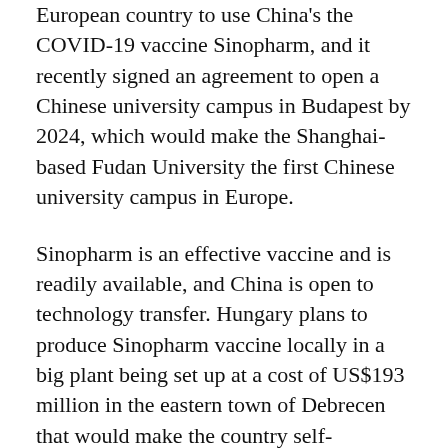European country to use China's the COVID-19 vaccine Sinopharm, and it recently signed an agreement to open a Chinese university campus in Budapest by 2024, which would make the Shanghai-based Fudan University the first Chinese university campus in Europe.
Sinopharm is an effective vaccine and is readily available, and China is open to technology transfer. Hungary plans to produce Sinopharm vaccine locally in a big plant being set up at a cost of US$193 million in the eastern town of Debrecen that would make the country self-sufficient in vaccine production from next year at vastly more economic terms than if it were to import Pfizer, AstraZeneca, Moderna, etc.
Fudan ranks among top 100 world universities and will help raise the standard of higher education in Hungary, providing courses to 6,000 students and the $1.8 billion project will be met through a $1.5 billion loan from a